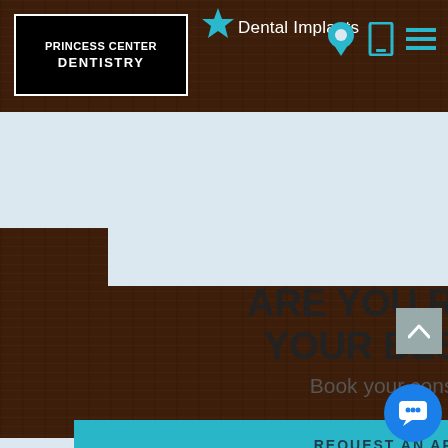[Figure (screenshot): Princess Center Dentistry logo - white text on black background with border]
Dental Implants
[Figure (infographic): Website screenshot showing dental practice page with wood texture background, navigation icons, heading 'ARE YOU READY FOR YOUR BEST SMILE?', subheading 'Book your consultation today!', and a teal REQUEST AN APPOINTMENT button]
ARE YOU READY FOR YOUR BEST SMILE?
Book your consultation today!
REQUEST AN APPOINTMENT